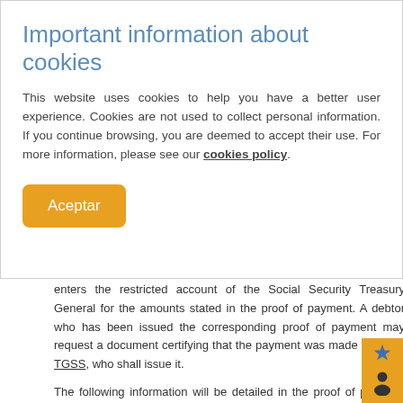Important information about cookies
This website uses cookies to help you have a better user experience. Cookies are not used to collect personal information. If you continue browsing, you are deemed to accept their use. For more information, please see our cookies policy.
Aceptar
enters the restricted account of the Social Security Treasury General for the amounts stated in the proof of payment. A debtor who has been issued the corresponding proof of payment may request a document certifying that the payment was made from the TGSS, who shall issue it.
The following information will be detailed in the proof of payment issued: